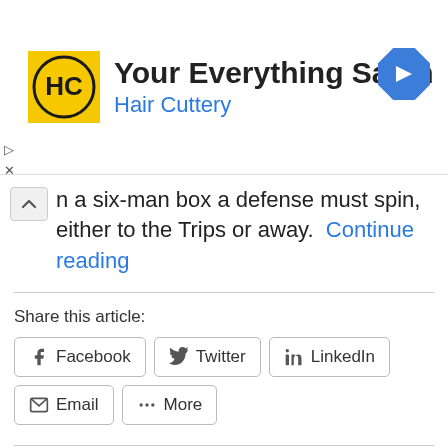[Figure (logo): Hair Cuttery advertisement banner with HC logo, 'Your Everything Salon' title, 'Hair Cuttery' subtitle in blue, and a blue navigation arrow icon on the right]
...n a six-man box a defense must spin, either to the Trips or away. Continue reading
Share this article:
Facebook  Twitter  LinkedIn  Email  More
Like this:
Loading...